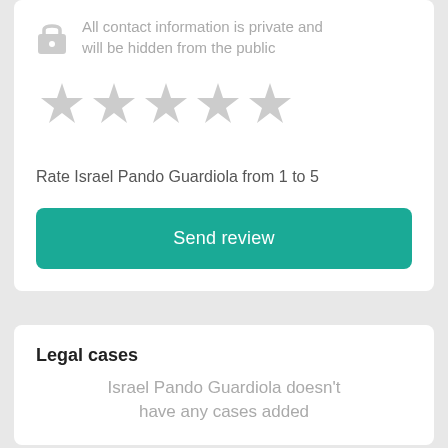All contact information is private and will be hidden from the public
[Figure (illustration): Five gray empty star icons for rating]
Rate Israel Pando Guardiola from 1 to 5
Send review
Legal cases
Israel Pando Guardiola doesn't have any cases added